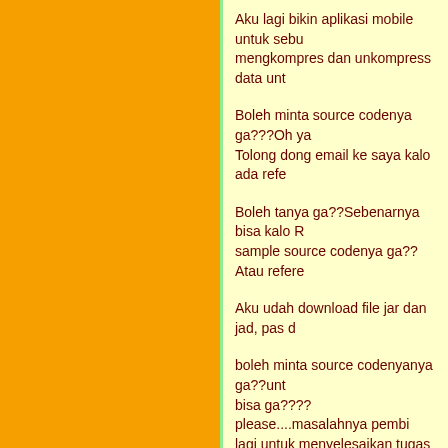Aku lagi bikin aplikasi mobile untuk sebu mengkompres dan unkompress data unt
Boleh minta source codenya ga???Oh ya Tolong dong email ke saya kalo ada refe
Boleh tanya ga??Sebenarnya bisa kalo R sample source codenya ga??Atau refere
Aku udah download file jar dan jad, pas d
boleh minta source codenyanya ga??unt bisa ga????please....masalahnya pembi lagi untuk menyelesaikan tugas akhir.
Mazzz... saya temennya eric agustian, k Boleh ga saya minta tolong juga... minta inspirasi dalam pembuatan aplikasi ini. S banyak yach sebelumnya....